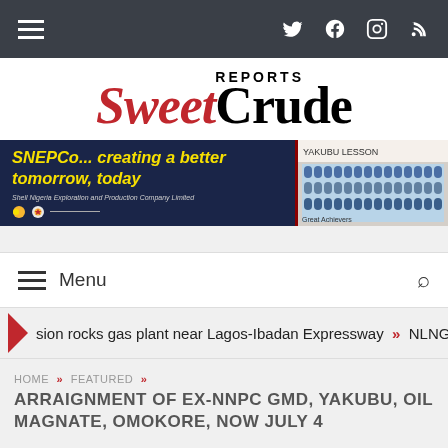≡  Twitter Facebook Instagram RSS
[Figure (logo): SweetCrude Reports logo — 'Sweet' in red italic serif, 'Crude' in black bold serif, 'REPORTS' above in black sans-serif caps]
[Figure (photo): SNEPCo advertisement banner: 'SNEPCo... creating a better tomorrow, today' in yellow italic text on dark blue background, with Shell Nigeria Exploration and Production Company Limited branding and a photo of students in blue uniforms]
≡ Menu
sion rocks gas plant near Lagos-Ibadan Expressway  »  NLNG aff
HOME » FEATURED » ARRAIGNMENT OF EX-NNPC GMD, YAKUBU, OIL MAGNATE, OMOKORE, NOW JULY 4